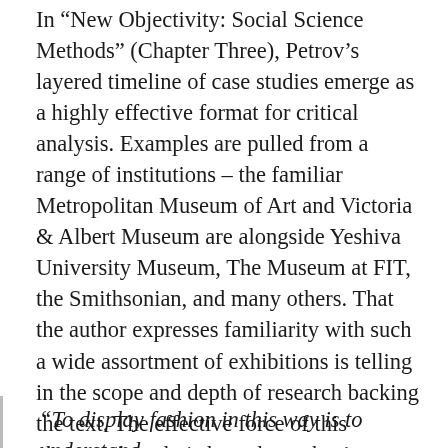In “New Objectivity: Social Science Methods” (Chapter Three), Petrov’s layered timeline of case studies emerge as a highly effective format for critical analysis. Examples are pulled from a range of institutions – the familiar Metropolitan Museum of Art and Victoria & Albert Museum are alongside Yeshiva University Museum, The Museum at FIT, the Smithsonian, and many others. That the author expresses familiarity with such a wide assortment of exhibitions is telling in the scope and depth of research backing the text. The effective force of this chapter, though, is how the author’s critiques develop, subtly questioning curatorial intentions before concluding with a powerfully direct assessment.
“To display fashion in this way is to understand